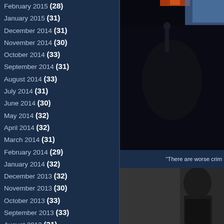February 2015 (28)
January 2015 (31)
December 2014 (31)
November 2014 (30)
October 2014 (33)
September 2014 (31)
August 2014 (33)
July 2014 (31)
June 2014 (30)
May 2014 (32)
April 2014 (32)
March 2014 (31)
February 2014 (29)
January 2014 (32)
December 2013 (32)
November 2013 (30)
October 2013 (33)
September 2013 (33)
August 2013 (31)
July 2013 (31)
June 2013 (31)
[Figure (photo): Photo of a person at a desk with papers and books, top right]
“There are worse crim…
[Figure (photo): Photo of a person, bottom right]